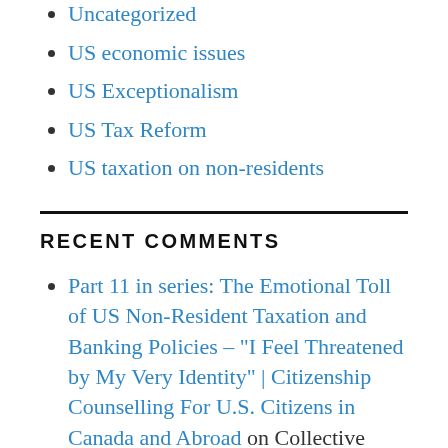Uncategorized
US economic issues
US Exceptionalism
US Tax Reform
US taxation on non-residents
RECENT COMMENTS
Part 11 in series: The Emotional Toll of US Non-Resident Taxation and Banking Policies – "I Feel Threatened by My Very Identity" | Citizenship Counselling For U.S. Citizens in Canada and Abroad on Collective psychotherapy – U.S. citizens outside U.S. – Not what they take from you, it's what they